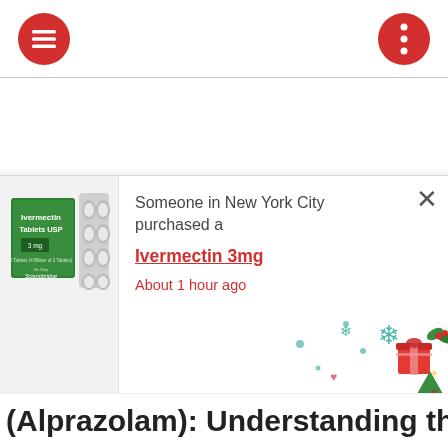[Menu icon] [More options icon]
[Figure (screenshot): Screenshot of a mobile app notification popup showing Ivermectin Tablets USP product image on left and text: Someone in New York City purchased a Ivermectin 3mg About 1 hour ago, with Christmas decorative elements]
(Alprazolam): Understanding the